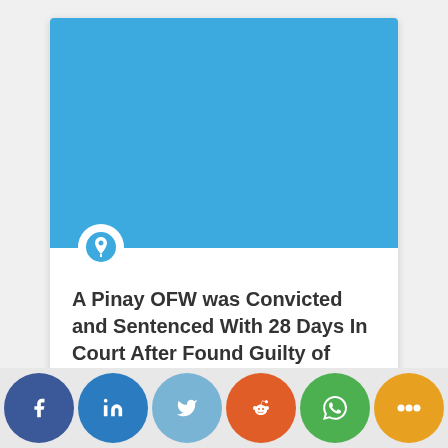[Figure (photo): Blue placeholder image at the top of a news article card]
A Pinay OFW was Convicted and Sentenced With 28 Days In Court After Found Guilty of Hitting Her Female Ward
[Figure (infographic): Social media share buttons row: Facebook, LinkedIn, Twitter, Reddit, WhatsApp, More]